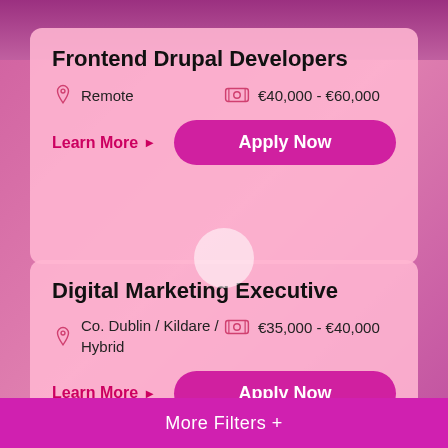Frontend Drupal Developers
Remote   €40,000 - €60,000
Learn More ▶
Apply Now
Digital Marketing Executive
Co. Dublin / Kildare / Hybrid   €35,000 - €40,000
Learn More ▶
Apply Now
More Filters +